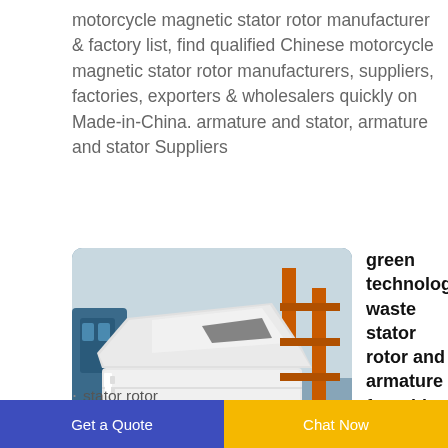motorcycle magnetic stator rotor manufacturer & factory list, find qualified Chinese motorcycle magnetic stator rotor manufacturers, suppliers, factories, exporters & wholesalers quickly on Made-in-China. armature and stator, armature and stator Suppliers
[Figure (photo): Industrial machine — a large white metal machine (waste stator rotor and armature recycling/stripping equipment) sitting on orange feet/supports, photographed in a factory or warehouse setting with orange scaffolding/racks in the background.]
green technology waste stator rotor and armature from big
stator rotor
Get a Quote   Chat Now